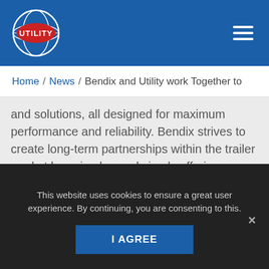[Figure (logo): Utility Trailer logo with globe and red ellipse, white text UTILITY]
Home / News / Bendix and Utility work Together to
and solutions, all designed for maximum performance and reliability. Bendix strives to create long-term partnerships within the trailer market by going beyond simply offering braking components for trailer applications, but instead delivering a complete, integrated system and excellent customer service.
About Bendix Commercial Vehicle Systems LLC
Bendix Commercial Vehicle Systems, a member of the
This website uses cookies to ensure a great user experience. By continuing, you are consenting to this.